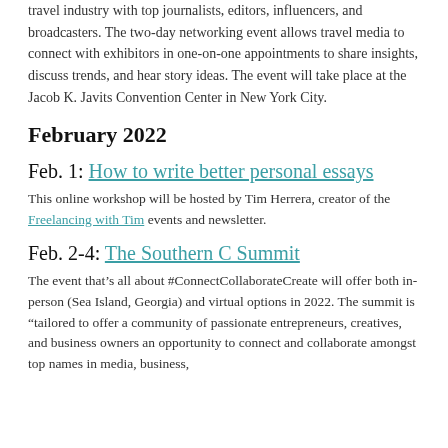travel industry with top journalists, editors, influencers, and broadcasters. The two-day networking event allows travel media to connect with exhibitors in one-on-one appointments to share insights, discuss trends, and hear story ideas. The event will take place at the Jacob K. Javits Convention Center in New York City.
February 2022
Feb. 1: How to write better personal essays
This online workshop will be hosted by Tim Herrera, creator of the Freelancing with Tim events and newsletter.
Feb. 2-4: The Southern C Summit
The event that’s all about #ConnectCollaborateCreate will offer both in-person (Sea Island, Georgia) and virtual options in 2022. The summit is “tailored to offer a community of passionate entrepreneurs, creatives, and business owners an opportunity to connect and collaborate amongst top names in media, business,